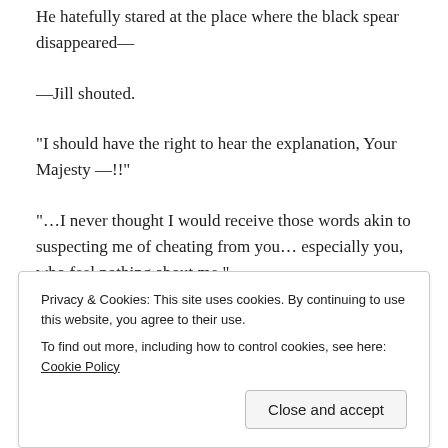He hatefully stared at the place where the black spear disappeared—
—Jill shouted.
“I should have the right to hear the explanation, Your Majesty—!!”
“…I never thought I would receive those words akin to suspecting me of cheating from you… especially you, who feel nothing about me.”
Privacy & Cookies: This site uses cookies. By continuing to use this website, you agree to their use.
To find out more, including how to control cookies, see here: Cookie Policy